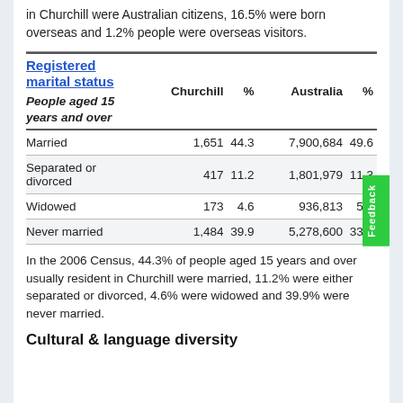in Churchill were Australian citizens, 16.5% were born overseas and 1.2% people were overseas visitors.
| Registered marital status
People aged 15 years and over | Churchill | % | Australia | % |
| --- | --- | --- | --- | --- |
| Married | 1,651 | 44.3 | 7,900,684 | 49.6 |
| Separated or divorced | 417 | 11.2 | 1,801,979 | 11.3 |
| Widowed | 173 | 4.6 | 936,813 | 5.9 |
| Never married | 1,484 | 39.9 | 5,278,600 | 33.2 |
In the 2006 Census, 44.3% of people aged 15 years and over usually resident in Churchill were married, 11.2% were either separated or divorced, 4.6% were widowed and 39.9% were never married.
Cultural & language diversity